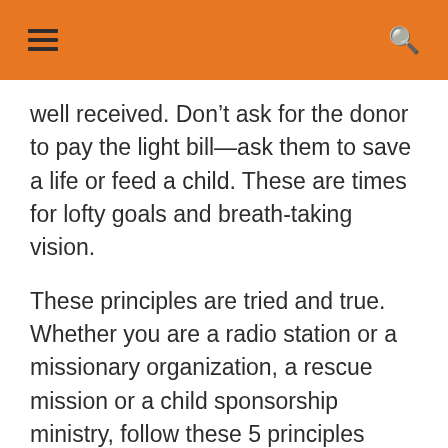well received. Don’t ask for the donor to pay the light bill—ask them to save a life or feed a child. These are times for lofty goals and breath-taking vision.
These principles are tried and true. Whether you are a radio station or a missionary organization, a rescue mission or a child sponsorship ministry, follow these 5 principles